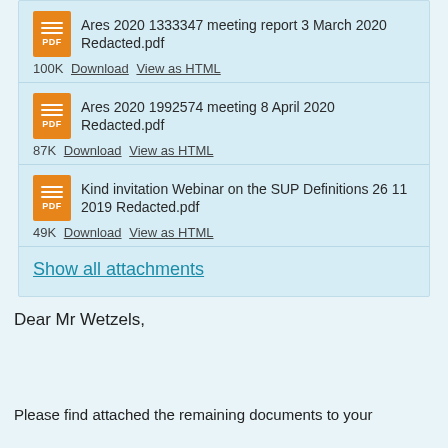Ares 2020 1333347 meeting report 3 March 2020 Redacted.pdf
100K Download View as HTML
Ares 2020 1992574 meeting 8 April 2020 Redacted.pdf
87K Download View as HTML
Kind invitation Webinar on the SUP Definitions 26 11 2019 Redacted.pdf
49K Download View as HTML
Show all attachments
Dear Mr Wetzels,
Please find attached the remaining documents to your